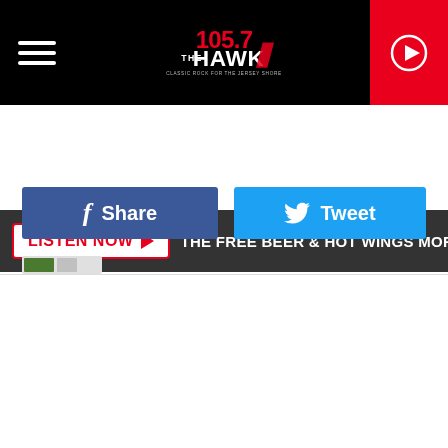[Figure (logo): 105.7 The Hawk radio station logo with hamburger menu icon and play button on black header bar]
LISTEN NOW ▶  THE FREE BEER & HOT WINGS MORNING SHOW
Share
Tweet
[Figure (other): Small advertisement or icon strip at bottom of visible content]